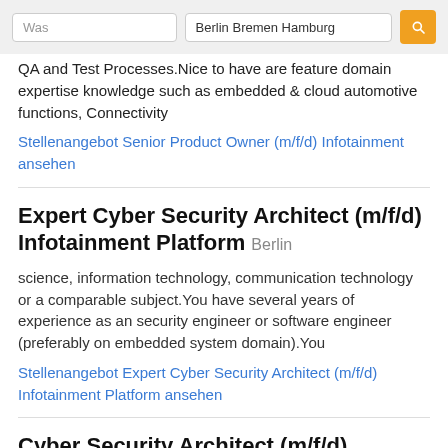[Figure (screenshot): Search bar with 'Was' placeholder input, 'Berlin Bremen Hamburg' location input, and orange search button with magnifying glass icon]
QA and Test Processes.Nice to have are feature domain expertise knowledge such as embedded & cloud automotive functions, Connectivity
Stellenangebot Senior Product Owner (m/f/d) Infotainment ansehen
Expert Cyber Security Architect (m/f/d) Infotainment Platform Berlin
science, information technology, communication technology or a comparable subject.You have several years of experience as an security engineer or software engineer (preferably on embedded system domain).You
Stellenangebot Expert Cyber Security Architect (m/f/d) Infotainment Platform ansehen
Cyber Security Architect (m/f/d) Infotainment Platform